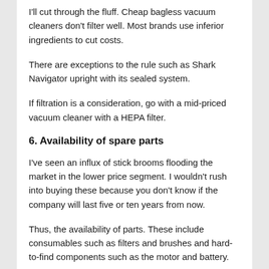I'll cut through the fluff. Cheap bagless vacuum cleaners don't filter well. Most brands use inferior ingredients to cut costs.
There are exceptions to the rule such as Shark Navigator upright with its sealed system.
If filtration is a consideration, go with a mid-priced vacuum cleaner with a HEPA filter.
6. Availability of spare parts
I've seen an influx of stick brooms flooding the market in the lower price segment. I wouldn't rush into buying these because you don't know if the company will last five or ten years from now.
Thus, the availability of parts. These include consumables such as filters and brushes and hard-to-find components such as the motor and battery.